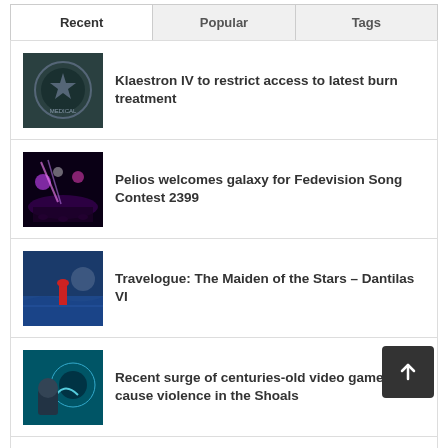Recent | Popular | Tags
Klaestron IV to restrict access to latest burn treatment
Pelios welcomes galaxy for Fedevision Song Contest 2399
Travelogue: The Maiden of the Stars – Dantilas VI
Recent surge of centuries-old video games cause violence in the Shoals
Archer IV power grid fails after